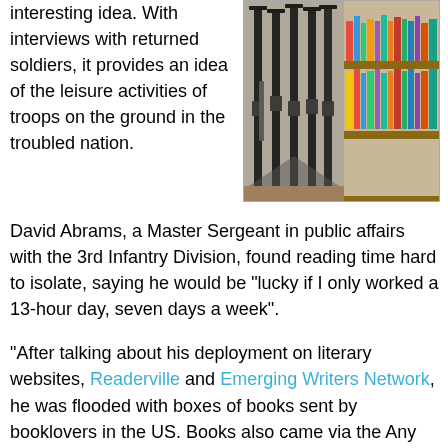interesting idea. With interviews with returned soldiers, it provides an idea of the leisure activities of troops on the ground in the troubled nation.
[Figure (photo): Rifles and assault weapons stacked against a wooden bookshelf filled with colorful books]
David Abrams, a Master Sergeant in public affairs with the 3rd Infantry Division, found reading time hard to isolate, saying he would be "lucky if I only worked a 13-hour day, seven days a week".
"After talking about his deployment on literary websites, Readerville and Emerging Writers Network, he was flooded with boxes of books sent by booklovers in the US. Books also came via the Any Soldier website (which sends care packages to soldiers)."
Ultimately, he was only able to read about 14 books. He was posted to Iraq in 2005.
Brian McNerney, a Lieutenant Colonel and public affairs officer in the US army, created a library during his tour in 2005 and 2006, with books donated by World War II